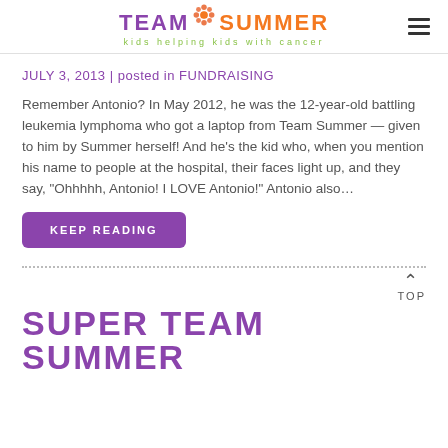TEAM SUMMER kids helping kids with cancer
JULY 3, 2013 | posted in FUNDRAISING
Remember Antonio? In May 2012, he was the 12-year-old battling leukemia lymphoma who got a laptop from Team Summer — given to him by Summer herself! And he's the kid who, when you mention his name to people at the hospital, their faces light up, and they say, "Ohhhhh, Antonio! I LOVE Antonio!" Antonio also...
KEEP READING
TOP
SUPER TEAM SUMMER